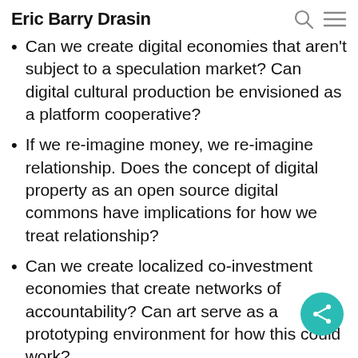Eric Barry Drasin
Can we create digital economies that aren't subject to a speculation market? Can digital cultural production be envisioned as a platform cooperative?
If we re-imagine money, we re-imagine relationship. Does the concept of digital property as an open source digital commons have implications for how we treat relationship?
Can we create localized co-investment economies that create networks of accountability? Can art serve as a prototyping environment for how this could work?